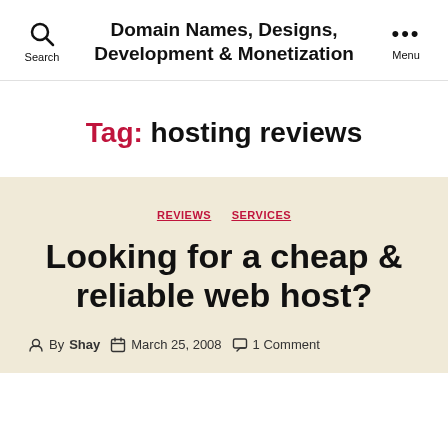Domain Names, Designs, Development & Monetization
Tag: hosting reviews
REVIEWS  SERVICES
Looking for a cheap & reliable web host?
By Shay  March 25, 2008  1 Comment